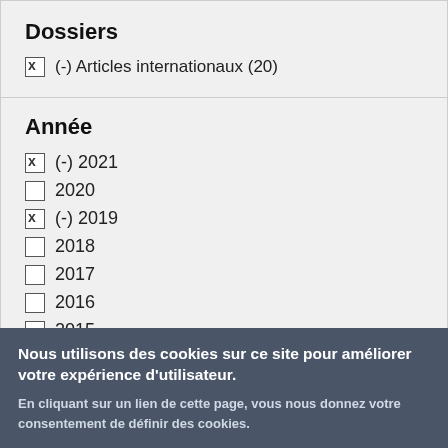Dossiers
x (-) Articles internationaux (20)
Année
x (-) 2021
2020
x (-) 2019
2018
2017
2016
2015
Nous utilisons des cookies sur ce site pour améliorer votre expérience d'utilisateur.
En cliquant sur un lien de cette page, vous nous donnez votre consentement de définir des cookies.